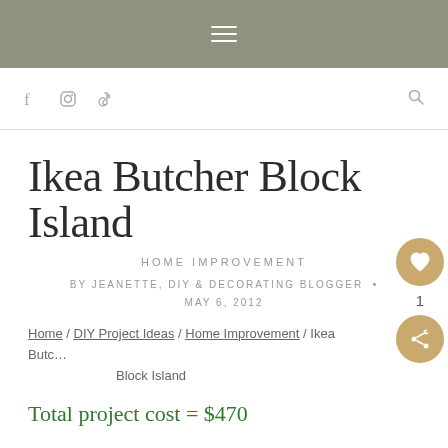≡ (hamburger menu)
Facebook / Instagram / TikTok social icons, Search icon
Ikea Butcher Block Island
HOME IMPROVEMENT
BY JEANETTE, DIY & DECORATING BLOGGER • MAY 6, 2012
Home / DIY Project Ideas / Home Improvement / Ikea Butcher Block Island
Total project cost = $470